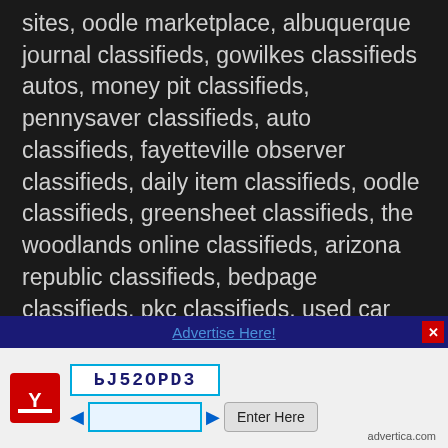sites, oodle marketplace, albuquerque journal classifieds, gowilkes classifieds autos, money pit classifieds, pennysaver classifieds, auto classifieds, fayetteville observer classifieds, daily item classifieds, oodle classifieds, greensheet classifieds, the woodlands online classifieds, arizona republic classifieds, bedpage classifieds, pkc classifieds, used car classifieds, dog classifieds, personals ads online, thrifty nickel online, free online classifieds, classified website, classified sites, ksl classified ads, daily oklahoman classifieds, baxter bulletin classifieds, consolidated classifieds, bangor daily news classifieds, free adult personals, johnson city press classifieds, want ad digest pets, joplin globe classifieds, kingsport times news classifieds, hcca classifieds, seattle times classifieds, dayton daily news classifieds, the republic classifieds, motorcycle classifieds,
[Figure (other): Advertisement bar with 'Advertise Here!' link and close button, followed by a CAPTCHA widget with an advertica.com logo, a CAPTCHA image showing 'ЬJ52OPD3', arrow navigation buttons, an input field, and an 'Enter Here' button.]